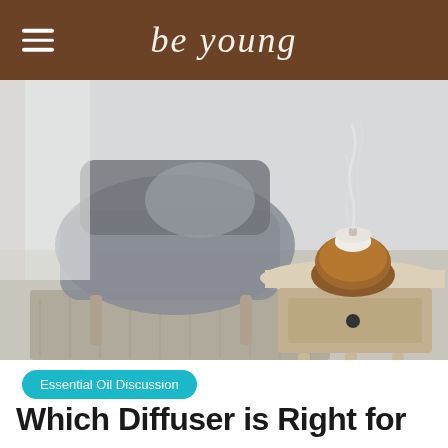be young
[Figure (photo): A wooden essential oil diffuser emitting mist/steam, sitting on a small light-colored side table with a drawer. Blurred background shows a grey armchair and a patterned rug in a living room setting.]
Essential Oil Discussion
Which Diffuser is Right for